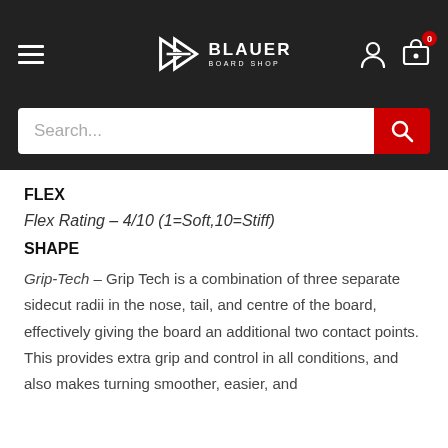Blauer Board Shop
Search...
FLEX
Flex Rating – 4/10 (1=Soft,10=Stiff)
SHAPE
Grip-Tech – Grip Tech is a combination of three separate sidecut radii in the nose, tail, and centre of the board, effectively giving the board an additional two contact points. This provides extra grip and control in all conditions, and also makes turning smoother, easier, and